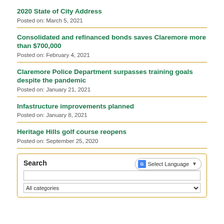2020 State of City Address
Posted on: March 5, 2021
Consolidated and refinanced bonds saves Claremore more than $700,000
Posted on: February 4, 2021
Claremore Police Department surpasses training goals despite the pandemic
Posted on: January 21, 2021
Infastructure improvements planned
Posted on: January 8, 2021
Heritage Hills golf course reopens
Posted on: September 25, 2020
Search